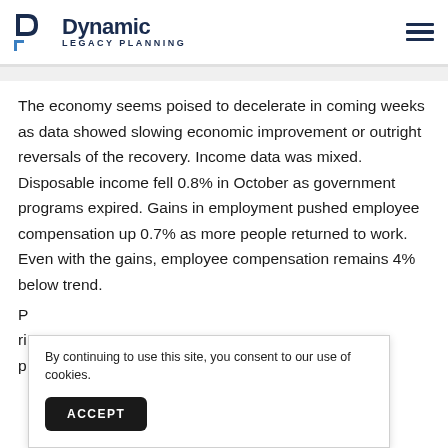Dynamic Legacy Planning
The economy seems poised to decelerate in coming weeks as data showed slowing economic improvement or outright reversals of the recovery. Income data was mixed. Disposable income fell 0.8% in October as government programs expired. Gains in employment pushed employee compensation up 0.7% as more people returned to work. Even with the gains, employee compensation remains 4% below trend.
P
ri
p
By continuing to use this site, you consent to our use of cookies.